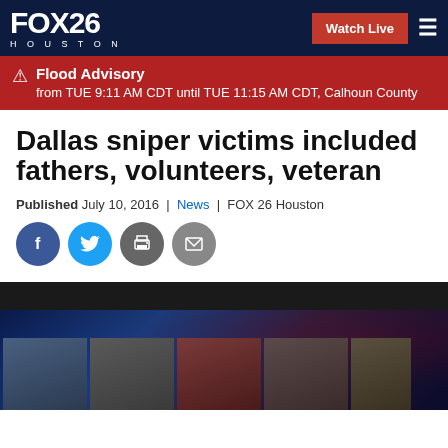FOX 26 HOUSTON | Watch Live
Flood Advisory from TUE 9:11 AM CDT until TUE 11:15 AM CDT, Calhoun County
Dallas sniper victims included fathers, volunteers, veteran
Published July 10, 2016 | News | FOX 26 Houston
[Figure (screenshot): Social share icons: Facebook, Twitter, Print, Email]
[Figure (photo): Photo strip showing headshots of Dallas sniper victims at the bottom of the page]